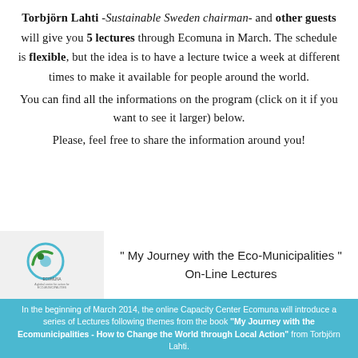Torbjörn Lahti -Sustainable Sweden chairman- and other guests will give you 5 lectures through Ecomuna in March. The schedule is flexible, but the idea is to have a lecture twice a week at different times to make it available for people around the world.
You can find all the informations on the program (click on it if you want to see it larger) below.
Please, feel free to share the information around you!
[Figure (logo): Ecomuna logo with circular green and blue design and text]
" My Journey with the Eco-Municipalities " On-Line Lectures
In the beginning of March 2014, the online Capacity Center Ecomuna will introduce a series of Lectures following themes from the book "My Journey with the Ecomunicipalities - How to Change the World through Local Action" from Torbjörn Lahti.